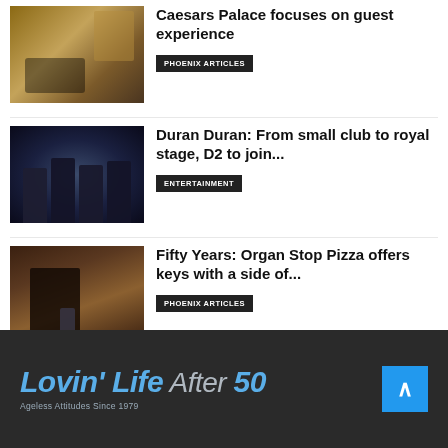[Figure (photo): Interior of Caesars Palace hotel lobby with warm golden lighting and modern furniture]
Caesars Palace focuses on guest experience
PHOENIX ARTICLES
[Figure (photo): Duran Duran band members posed against a dark background with silver/blue lighting]
Duran Duran: From small club to royal stage, D2 to join...
ENTERTAINMENT
[Figure (photo): Interior of Organ Stop Pizza restaurant with a large pipe organ and a person standing beside it]
Fifty Years: Organ Stop Pizza offers keys with a side of...
PHOENIX ARTICLES
[Figure (logo): Lovin' Life After 50 logo with tagline Ageless Attitudes Since 1979]